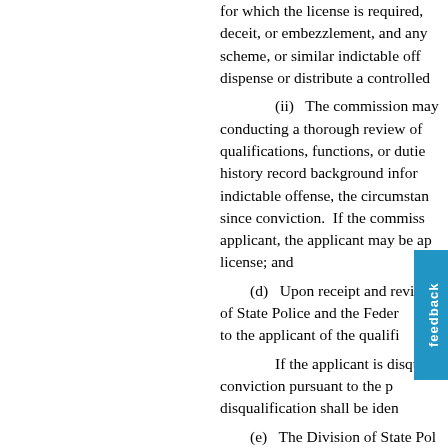for which the license is required, deceit, or embezzlement, and any scheme, or similar indictable off dispense or distribute a controlled
(ii) The commission may conducting a thorough review of qualifications, functions, or dutie history record background infor indictable offense, the circumstan since conviction. If the commiss applicant, the applicant may be ap license; and
(d) Upon receipt and review of State Police and the Feder to the applicant of the qualifi
If the applicant is disqua conviction pursuant to the p disqualification shall be iden
(e) The Division of State Pol